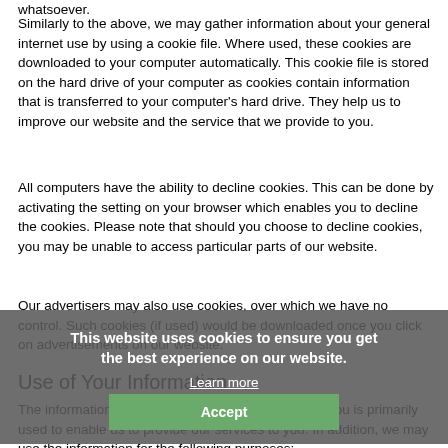whatsoever.
Similarly to the above, we may gather information about your general internet use by using a cookie file. Where used, these cookies are downloaded to your computer automatically. This cookie file is stored on the hard drive of your computer as cookies contain information that is transferred to your computer's hard drive. They help us to improve our website and the service that we provide to you.
All computers have the ability to decline cookies. This can be done by activating the setting on your browser which enables you to decline the cookies. Please note that should you choose to decline cookies, you may be unable to access particular parts of our website.
Our advertisers may also use cookies, over which we have no control. Such cookies (if used) would be downloaded once you click on advertisements on our website.
Use of Your Information
The information that we collect and store relating to you is primarily used to enable us to provide our services to you. In addition, we may use the information for the following purposes:
This website uses cookies to ensure you get the best experience on our website.
Learn more
Accept